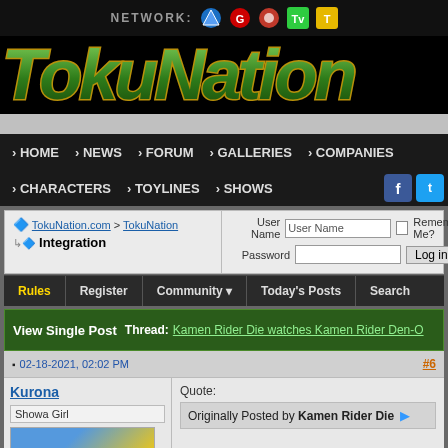NETWORK: [icons]
[Figure (logo): TokuNation green and gold logo]
Navigation: HOME NEWS FORUM GALLERIES COMPANIES CHARACTERS TOYLINES SHOWS
TokuNation.com > TokuNation Integration | User Name | Password | Remember Me? | Log in
Rules | Register | Community | Today's Posts | Search
View Single Post | Thread: Kamen Rider Die watches Kamen Rider Den-O
02-18-2021, 02:02 PM | #6
Kurona
Showa Girl
Quote:
Originally Posted by Kamen Rider Die